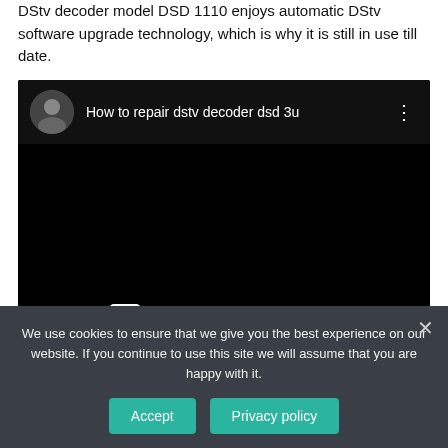DStv decoder model DSD 1110 enjoys automatic DStv software upgrade technology, which is why it is still in use till date.
[Figure (screenshot): YouTube video embed showing 'How to repair dstv decoder dsd 3u' with a circular avatar thumbnail, three-dot menu, black video area, and a 'Watch on YouTube' bar at the bottom.]
We use cookies to ensure that we give you the best experience on our website. If you continue to use this site we will assume that you are happy with it.
Accept | Privacy policy